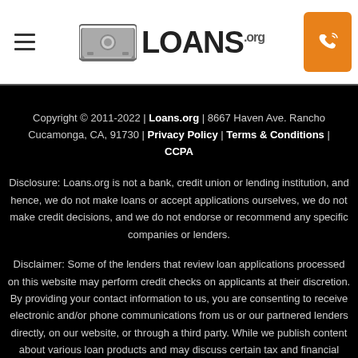Loans.org header with logo and phone button
Copyright © 2011-2022 | Loans.org | 8667 Haven Ave. Rancho Cucamonga, CA, 91730 | Privacy Policy | Terms & Conditions | CCPA
Disclosure: Loans.org is not a bank, credit union or lending institution, and hence, we do not make loans or accept applications ourselves, we do not make credit decisions, and we do not endorse or recommend any specific companies or lenders.
Disclaimer: Some of the lenders that review loan applications processed on this website may perform credit checks on applicants at their discretion. By providing your contact information to us, you are consenting to receive electronic and/or phone communications from us or our partnered lenders directly, on our website, or through a third party. While we publish content about various loan products and may discuss certain tax and financial considerations, generally we do not provide tax or financial